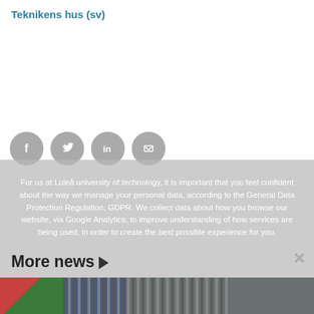Teknikens hus (sv)
[Figure (infographic): Four social media share icons: Facebook, Twitter, LinkedIn, and Email, rendered as grey circular buttons]
For us at Luleå university of technology, it is important that you feel confident about the way we manage your personal data, according to the General Data Protection Regulation, GDPR. We collect data about how you browse our website, via Google Analytics, to improve understanding of how services are being used, in order to create the best possible experience for you.
More news
[Figure (photo): Interior photo showing colorful panels (red, green) and vertical blinds/curtains in a building interior]